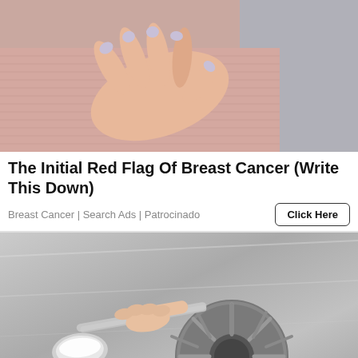[Figure (photo): Close-up of a woman's hand touching her chest/breast area, wearing a light pink ribbed top. Gray background visible. Lavender/light purple nail polish on fingers.]
The Initial Red Flag Of Breast Cancer (Write This Down)
Breast Cancer | Search Ads | Patrocinado
[Figure (photo): A hand holding a metal spoon filled with white powder (baking soda) over a stainless steel sink drain. White powder is visible around the drain.]